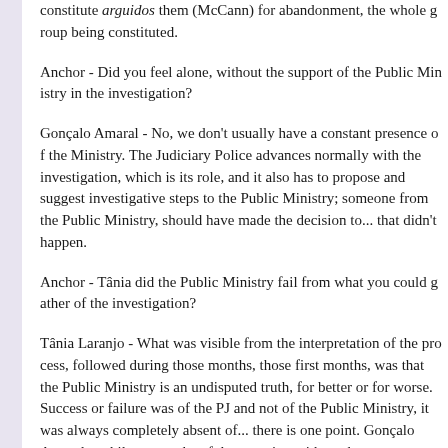constitute arguidos them (McCann) for abandonment, the whole group being constituted.
Anchor - Did you feel alone, without the support of the Public Ministry in the investigation?
Gonçalo Amaral - No, we don't usually have a constant presence of the Ministry. The Judiciary Police advances normally with the investigation, which is its role, and it also has to propose and suggest investigative steps to the Public Ministry; someone from the Public Ministry, should have made the decision to... that didn't happen.
Anchor - Tânia did the Public Ministry fail from what you could gather of the investigation?
Tânia Laranjo - What was visible from the interpretation of the process, followed during those months, those first months, was that the Public Ministry is an undisputed truth, for better or for worse. Success or failure was of the PJ and not of the Public Ministry, it was always completely absent of... there is one point. Gonçalo Amaral a while ago spoke of that meeting with... when a press statement was read at the door of the PJ headquarters, the truth is that from then on the Judiciary Police undertook a thesis, undertook the investigation absolutely restricted. There, it would have been pivotal for the Public Ministry to be present, even more so to provide the guarantee...